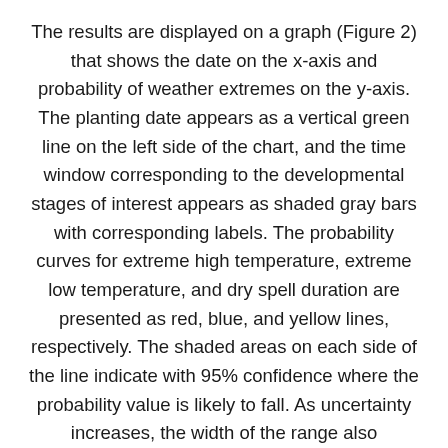The results are displayed on a graph (Figure 2) that shows the date on the x-axis and probability of weather extremes on the y-axis. The planting date appears as a vertical green line on the left side of the chart, and the time window corresponding to the developmental stages of interest appears as shaded gray bars with corresponding labels. The probability curves for extreme high temperature, extreme low temperature, and dry spell duration are presented as red, blue, and yellow lines, respectively. The shaded areas on each side of the line indicate with 95% confidence where the probability value is likely to fall. As uncertainty increases, the width of the range also increases. This tends to happen as record length decreases and probability values approach 50%. By hovering the cursor over the